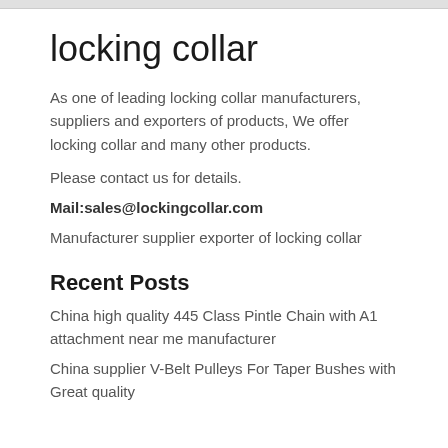locking collar
As one of leading locking collar manufacturers, suppliers and exporters of products, We offer locking collar and many other products.
Please contact us for details.
Mail:sales@lockingcollar.com
Manufacturer supplier exporter of locking collar
Recent Posts
China high quality 445 Class Pintle Chain with A1 attachment near me manufacturer
China supplier V-Belt Pulleys For Taper Bushes with Great quality